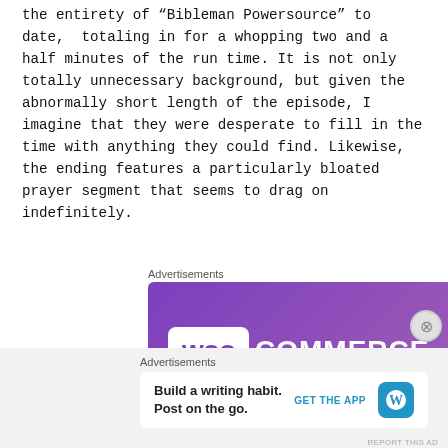The episode starts with a retrospective of the entirety of “Bibleman Powersource” to date,  totaling in for a whopping two and a half minutes of the run time. It is not only totally unnecessary background, but given the abnormally short length of the episode, I imagine that they were desperate to fill in the time with anything they could find. Likewise, the ending features a particularly bloated prayer segment that seems to drag on indefinitely.
[Figure (screenshot): WooCommerce advertisement banner with purple gradient background and white WooCommerce logo]
[Figure (screenshot): WordPress app advertisement: Build a writing habit. Post on the go. GET THE APP with WordPress icon]